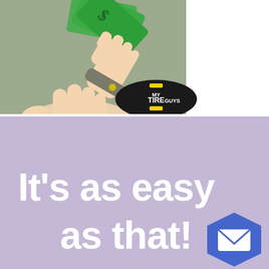[Figure (illustration): Hand passing green dollar bills to another open hand. An oval black logo reading 'MY TIRE GUYS' with yellow accents is in the lower right of the image. Background is sage green.]
[Figure (infographic): Purple/lavender background with large bold white text reading 'It's as easy as that!' and a blue hexagon icon with an envelope/mail symbol in the lower right corner.]